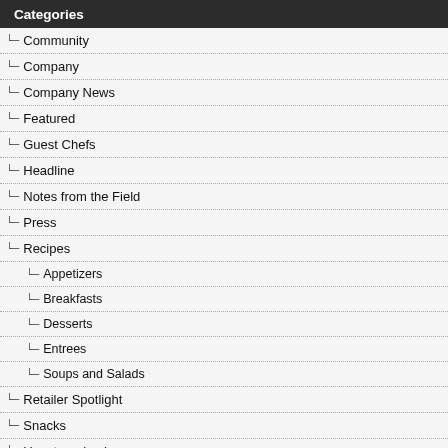Categories
Community
Company
Company News
Featured
Guest Chefs
Headline
Notes from the Field
Press
Recipes
Appetizers
Breakfasts
Desserts
Entrees
Soups and Salads
Retailer Spotlight
Snacks
Uncategorized
Videos
Welcome